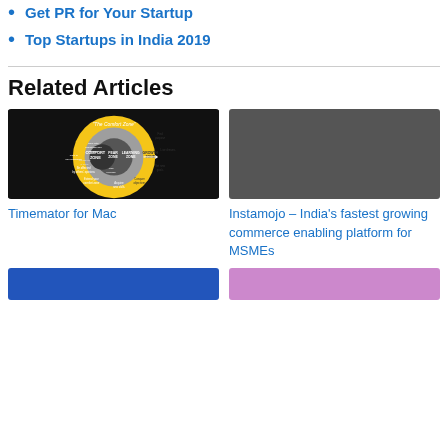Get PR for Your Startup
Top Startups in India 2019
Related Articles
[Figure (illustration): Comfort Zone diagram showing concentric circles: Comfort Zone, Fear Zone, Learning Zone, Growth Zone on black background]
Timemator for Mac
[Figure (photo): Dark gray placeholder image]
Instamojo – India's fastest growing commerce enabling platform for MSMEs
[Figure (photo): Blue image at bottom left]
[Figure (photo): Pink/purple image at bottom right]